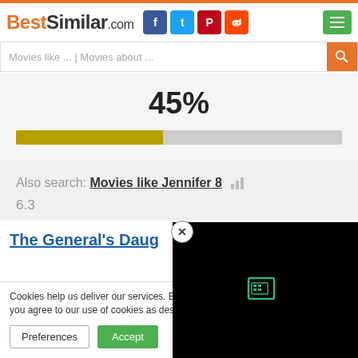BestSimilar.com
Movies like ... | Movies about ...
45%
[Figure (other): Progress bar showing 45% filled in yellow-olive color on gray background]
Also search: Movies like Jennifer 8  6.3
The General's Daug...
Cookies help us deliver our services. By us... you agree to our use of cookies as describe...
Preferences  Accept